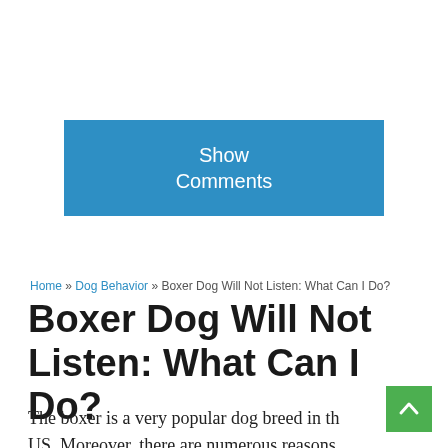[Figure (other): A blue 'Show Comments' button]
Home » Dog Behavior » Boxer Dog Will Not Listen: What Can I Do?
Boxer Dog Will Not Listen: What Can I Do?
The boxer is a very popular dog breed in the US. Moreover, there are numerous reasons